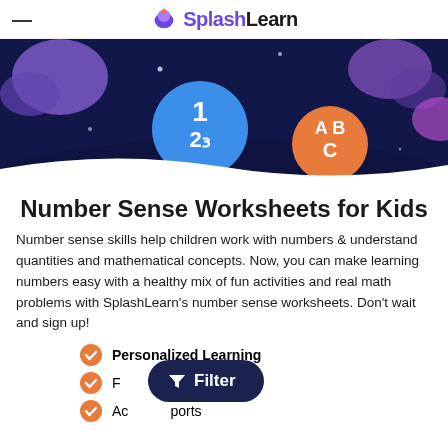SplashLearn
[Figure (illustration): Dark navy space-themed banner with colorful blobs/bubbles. A blue circle shows '123' and an orange circle shows 'ABC'. Stars are visible on the dark background.]
Number Sense Worksheets for Kids
Number sense skills help children work with numbers & understand quantities and mathematical concepts. Now, you can make learning numbers easy with a healthy mix of fun activities and real math problems with SplashLearn's number sense worksheets. Don't wait and sign up!
Personalized Learning
F...
Ac...ports
[Figure (screenshot): Dark navy pill-shaped Filter button with funnel icon and text 'Filter', overlaying the list items.]